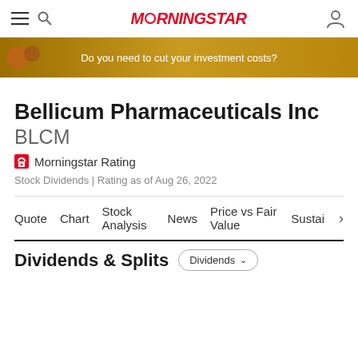Morningstar
[Figure (infographic): Morningstar advertisement banner: 'Do you need to cut your investment costs?']
Bellicum Pharmaceuticals Inc BLCM
🔒 Morningstar Rating
Stock Dividends | Rating as of Aug 26, 2022
Quote   Chart   Stock Analysis   News   Price vs Fair Value   Sustain ›
Dividends & Splits
Dividends ∨